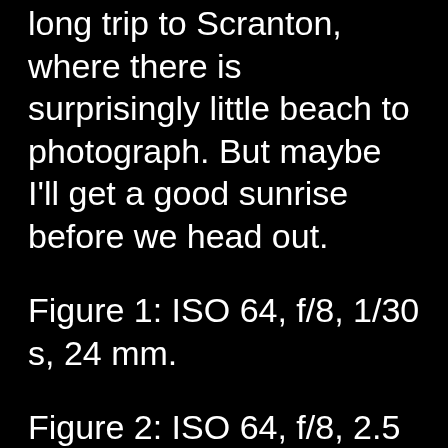long trip to Scranton, where there is surprisingly little beach to photograph. But maybe I'll get a good sunrise before we head out.
Figure 1: ISO 64, f/8, 1/30 s, 24 mm.
Figure 2: ISO 64, f/8, 2.5 s, 14 mm.
Figure 3: ISO 64, f/8, 1/8 s, 14 mm.
All captured with Nikon Z 7ii with Nikkor 14–24 f/2.8 lens with FTZ